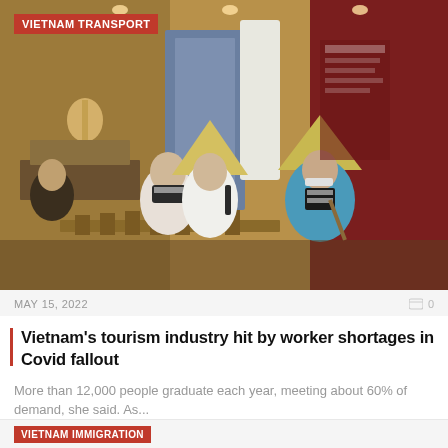[Figure (photo): Tourists inside a museum in Vietnam, looking at exhibits. Several people are wearing masks and Vietnamese conical hats. Display cases and red-walled exhibits are visible in the background.]
VIETNAM TRANSPORT
MAY 15, 2022
Vietnam's tourism industry hit by worker shortages in Covid fallout
More than 12,000 people graduate each year, meeting about 60% of demand, she said. As...
VIETNAM IMMIGRATION